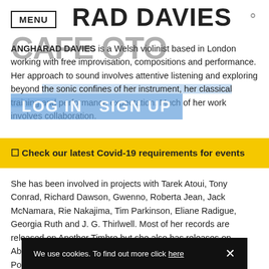MENU | ANGHARAD DAVIES
ANGHARAD DAVIES is a Welsh violinist based in London working with free improvisation, compositions and performance. Her approach to sound involves attentive listening and exploring beyond the sonic confines of her instrument, her classical training and performance expectation. Much of her work involves collaboration.
🔔 Check our latest Covid-19 requirements for events
She has been involved in projects with Tarek Atoui, Tony Conrad, Richard Dawson, Gwenno, Roberta Jean, Jack McNamara, Rie Nakajima, Tim Parkinson, Eliane Radigue, Georgia Ruth and J. G. Thirlwell. Most of her records are released on Another Timbre but she also has releases on Absinth Records, all that dust, Confrontrecords, Emanem, Potlatch and winds measure recordings. Her first orchestral piece was commissioned by LCMF in 2019. She is currently writing a piece for Juliet Fraser and Explore Ensemble.
We use cookies. To find out more click here